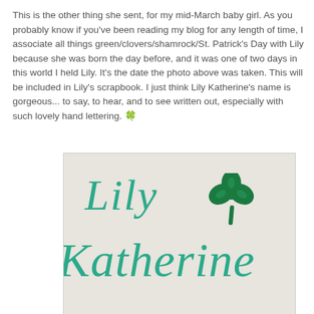This is the other thing she sent, for my mid-March baby girl. As you probably know if you've been reading my blog for any length of time, I associate all things green/clovers/shamrock/St. Patrick's Day with Lily because she was born the day before, and it was one of two days in this world I held Lily. It's the date the photo above was taken. This will be included in Lily's scrapbook. I just think Lily Katherine's name is gorgeous... to say, to hear, and to see written out, especially with such lovely hand lettering. 🍀
[Figure (photo): Hand-lettered calligraphy artwork showing 'Lily Katherine' in teal/green cursive script on a light beige/cream background, with a green painted shamrock clover next to the word 'Lily']